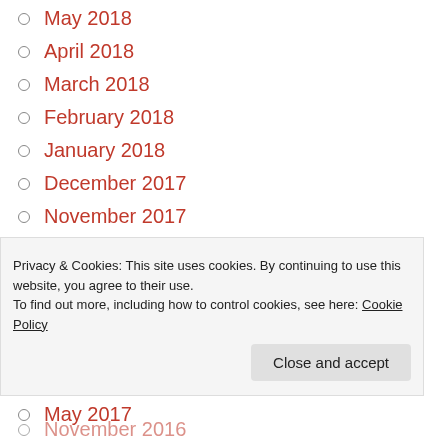May 2018
April 2018
March 2018
February 2018
January 2018
December 2017
November 2017
October 2017
September 2017
August 2017
July 2017
June 2017
May 2017
Privacy & Cookies: This site uses cookies. By continuing to use this website, you agree to their use.
To find out more, including how to control cookies, see here: Cookie Policy
November 2016